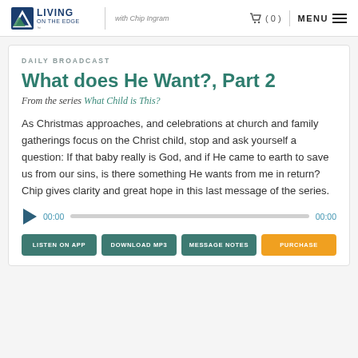LIVING ON THE EDGE with Chip Ingram | (0) | MENU
DAILY BROADCAST
What does He Want?, Part 2
From the series What Child is This?
As Christmas approaches, and celebrations at church and family gatherings focus on the Christ child, stop and ask yourself a question: If that baby really is God, and if He came to earth to save us from our sins, is there something He wants from me in return? Chip gives clarity and great hope in this last message of the series.
00:00   00:00
LISTEN ON APP | DOWNLOAD MP3 | MESSAGE NOTES | PURCHASE